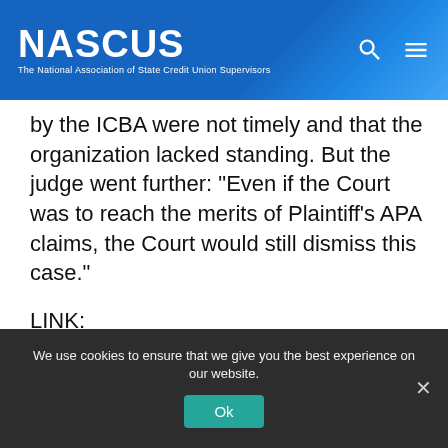NASCUS — The National Association of State Credit Union Supervisors
by the ICBA were not timely and that the organization lacked standing. But the judge went further: “Even if the Court was to reach the merits of Plaintiff’s APA claims, the Court would still dismiss this case.”
LINK:
Dismissal decision in bankers vs. NCUA MBL rule